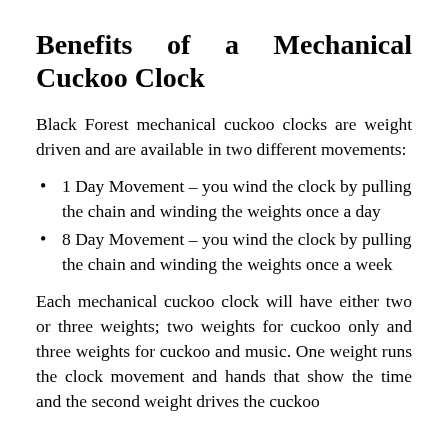Benefits of a Mechanical Cuckoo Clock
Black Forest mechanical cuckoo clocks are weight driven and are available in two different movements:
1 Day Movement – you wind the clock by pulling the chain and winding the weights once a day
8 Day Movement – you wind the clock by pulling the chain and winding the weights once a week
Each mechanical cuckoo clock will have either two or three weights; two weights for cuckoo only and three weights for cuckoo and music. One weight runs the clock movement and hands that show the time and the second weight drives the cuckoo